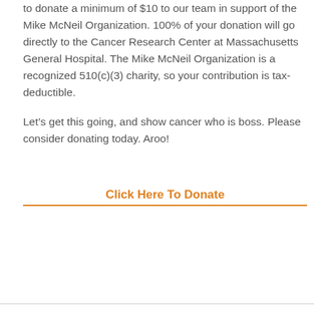to donate a minimum of $10 to our team in support of the Mike McNeil Organization.  100% of your donation will go directly to the Cancer Research Center at Massachusetts General Hospital.  The Mike McNeil Organization is a recognized 510(c)(3) charity, so your contribution is tax-deductible.
Let's get this going, and show cancer who is boss.  Please consider donating today.  Aroo!
Click Here To Donate